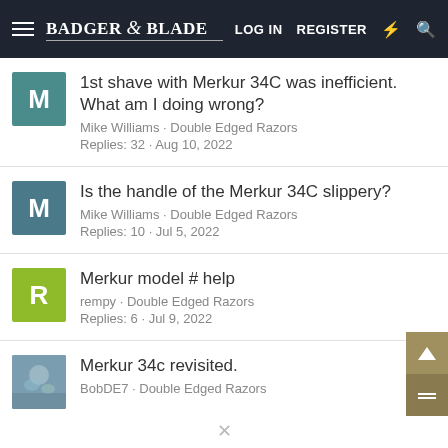Badger & Blade — LOG IN  REGISTER
1st shave with Merkur 34C was inefficient. What am I doing wrong? — Mike Williams · Double Edged Razors — Replies: 32 · Aug 10, 2022
Is the handle of the Merkur 34C slippery? — Mike Williams · Double Edged Razors — Replies: 10 · Jul 5, 2022
Merkur model # help — rempy · Double Edged Razors — Replies: 6 · Jul 9, 2022
Merkur 34c revisited. — BobDE7 · Double Edged Razors